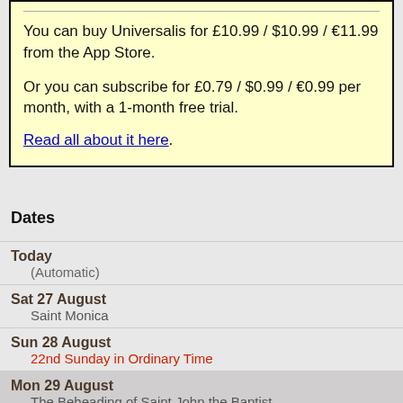You can buy Universalis for £10.99 / $10.99 / €11.99 from the App Store.

Or you can subscribe for £0.79 / $0.99 / €0.99 per month, with a 1-month free trial.

Read all about it here.
Dates
Today
(Automatic)
Sat 27 August
Saint Monica
Sun 28 August
22nd Sunday in Ordinary Time
Mon 29 August
The Beheading of Saint John the Baptist
Tue 30 August